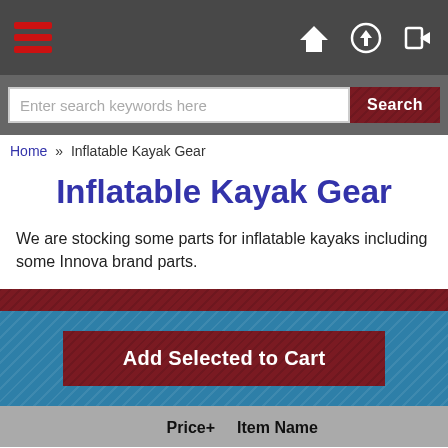Navigation bar with hamburger menu, home, upload, and login icons
Enter search keywords here
Search
Home » Inflatable Kayak Gear
Inflatable Kayak Gear
We are stocking some parts for inflatable kayaks including some Innova brand parts.
Add Selected to Cart
| Price+ | Item Name |
| --- | --- |